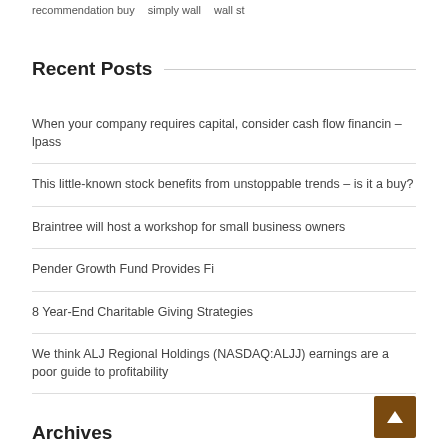recommendation buy   simply wall   wall st
Recent Posts
When your company requires capital, consider cash flow financin – lpass
This little-known stock benefits from unstoppable trends – is it a buy?
Braintree will host a workshop for small business owners
Pender Growth Fund Provides Fi
8 Year-End Charitable Giving Strategies
We think ALJ Regional Holdings (NASDAQ:ALJJ) earnings are a poor guide to profitability
Archives